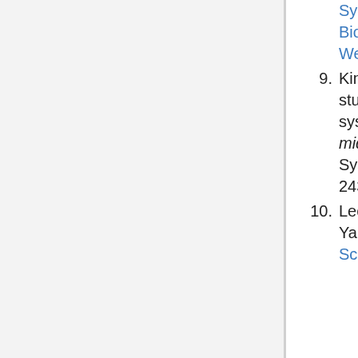(continued) Symposium on Biological Control of Weeds 287-291
9. Kimata, Mikio 1978 Comparative studies on the reproductive systems of Mazus japonicus and M. miquelii (Scrophulariaceae) Plant Systematics and Evolution 129(4) 243-253
10. Lee, Tchang Bok and Takasi Yamazaki 1983 A revision of the Scrophulariaceae in